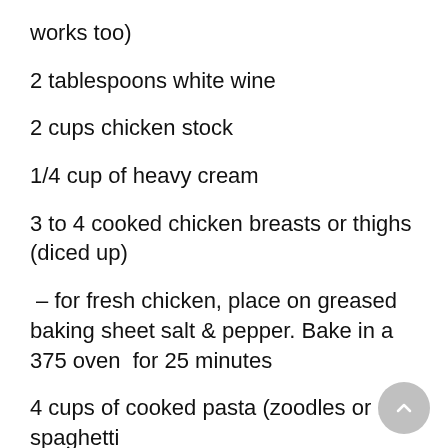works too)
2 tablespoons white wine
2 cups chicken stock
1/4 cup of heavy cream
3 to 4 cooked chicken breasts or thighs (diced up)
– for fresh chicken, place on greased baking sheet salt & pepper. Bake in a 375 oven  for 25 minutes
4 cups of cooked pasta (zoodles or 1 spaghetti squash)